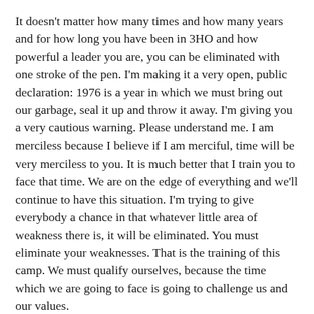It doesn't matter how many times and how many years and for how long you have been in 3HO and how powerful a leader you are, you can be eliminated with one stroke of the pen. I'm making it a very open, public declaration: 1976 is a year in which we must bring out our garbage, seal it up and throw it away. I'm giving you a very cautious warning. Please understand me. I am merciless because I believe if I am merciful, time will be very merciless to you. It is much better that I train you to face that time. We are on the edge of everything and we'll continue to have this situation. I'm trying to give everybody a chance in that whatever little area of weakness there is, it will be eliminated. You must eliminate your weaknesses. That is the training of this camp. We must qualify ourselves, because the time which we are going to face is going to challenge us and our values.
In society you see every day what is happening. One man gets up while working, goes to a corner, picks up a rifle